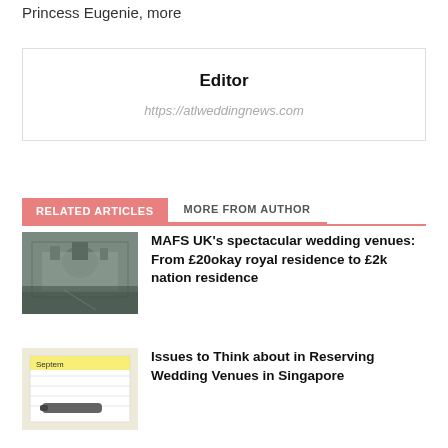Princess Eugenie, more
Editor
https://atlweddingnews.com
RELATED ARTICLES   MORE FROM AUTHOR
MAFS UK’s spectacular wedding venues: From £20okay royal residence to £2k nation residence
Issues to Think about in Reserving Wedding Venues in Singapore